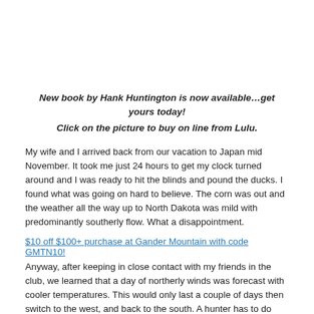New book by Hank Huntington is now available…get yours today!
Click on the picture to buy on line from Lulu.
My wife and I arrived back from our vacation to Japan mid November.  It took me just 24 hours to get my clock turned around and I was ready to hit the blinds and pound the ducks.  I found what was going on hard to believe.  The corn was out and the weather all the way up to North Dakota was mild with predominantly southerly flow.  What a disappointment.
$10 off $100+ purchase at Gander Mountain with code GMTN10!
Anyway, after keeping in close contact with my friends in the club, we learned that a day of northerly winds was forecast with cooler temperatures.  This would only last a couple of days then switch to the west, and back to the south.  A hunter has to do what he